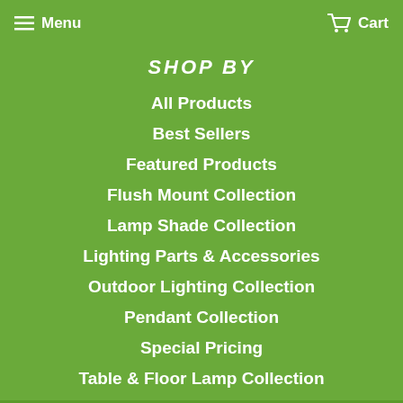Menu   Cart
SHOP BY
All Products
Best Sellers
Featured Products
Flush Mount Collection
Lamp Shade Collection
Lighting Parts & Accessories
Outdoor Lighting Collection
Pendant Collection
Special Pricing
Table & Floor Lamp Collection
Vanity Wall Collection